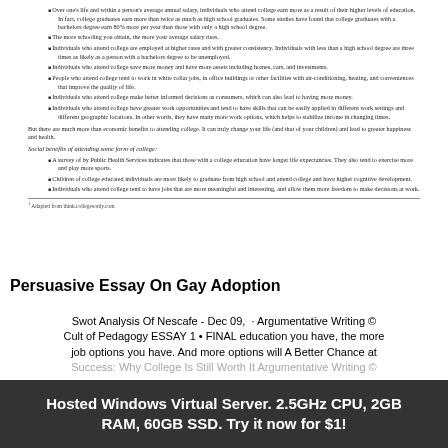Over one's life and within a person's average annual salary, individuals who attend college earn more as a result of their higher levels of education. In fact, college graduates earn more than twice as much as high school graduates. Some studies have found that college graduates with a bachelors degree earn 80% more per year than those with only a high school degree.
The more schooling you obtain, the more your average salary rises.
Individuals who attend college are employed at higher rates and with greater consistency. Individuals with less than a high school degree are three times as likely as a person with a bachelors degree to be unemployed.
Individuals who attend college save more money and have more assets including homes, cars, and investments.
People who attend college tend to work in white collar jobs, in office buildings or other facilities with air-conditioning, heating, and conveniences that improve the quality of life.
Individuals who attend college make better informed decisions as consumers, which can also lead to having more money.
Individuals who attend college have greater work opportunities and tend to have skills that can be easily applied in different work settings and different geographic locations. In other words, they have many more work options, which helps to stabilize income in changing times.
But there are much more than economic benefits to attending college. It can truly change your life (and that of your children) and lead to greater happiness and health.
Social benefits of attending some form of college:
A survey of by Public Health Services indicates that those with a college education have longer life expectancies. They also tend to exercise more and play more sports.
Children of college educated individuals are more likely to graduate from high school and attend college and have higher cognitive development.
Individuals who attend college tend to have jobs that are more meaningful and interesting, and allow them more freedom to make decisions at work.
1 Adapted from think.collegesonly.com
Persuasive Essay On Gay Adoption
Swot Analysis Of Nescafe - Dec 09,  · Argumentative Writing © Cult of Pedagogy ESSAY 1 • FINAL education you have, the more job options you have. And more options will A Better Chance at Success: Why College Is Still Worth It Argumentative Writing © four-year degree made 98 percent more an hour on average in than people without a degree.
Hosted Windows Virtual Server. 2.5GHz CPU, 2GB RAM, 60GB SSD. Try it now for $1!